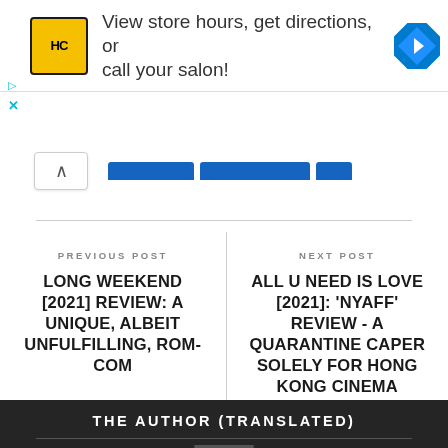[Figure (infographic): Advertisement banner: HC logo (yellow square with HC text), text 'View store hours, get directions, or call your salon!', blue diamond navigation arrow icon]
PREVIOUS POST
LONG WEEKEND [2021] REVIEW: A UNIQUE, ALBEIT UNFULFILLING, ROM-COM
NEXT POST
ALL U NEED IS LOVE [2021]: 'NYAFF' REVIEW - A QUARANTINE CAPER SOLELY FOR HONG KONG CINEMA ENTHUSIASTS
THE AUTHOR (TRANSLATED)